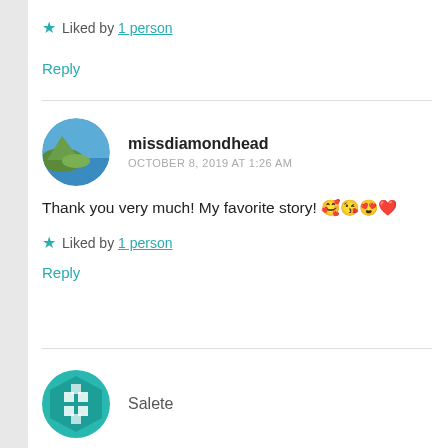★ Liked by 1 person
Reply
missdiamondhead
OCTOBER 8, 2019 AT 1:26 AM
Thank you very much! My favorite story! 🥰😘😍❤️
★ Liked by 1 person
Reply
Salete